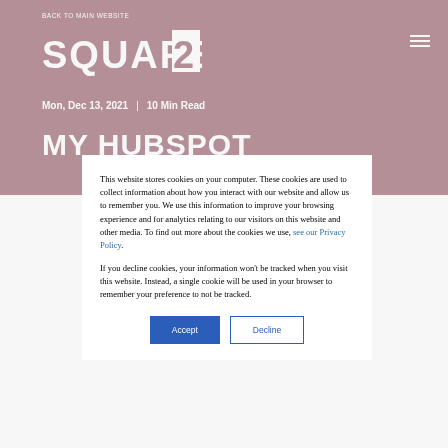BACK TO MAIN WEBSITE
[Figure (logo): Square 2 logo in white on dark maroon background]
Mon, Dec 13, 2021  |  10 Min Read
MY HUBSPOT
This website stores cookies on your computer. These cookies are used to collect information about how you interact with our website and allow us to remember you. We use this information to improve your browsing experience and for analytics relating to our visitors on this website and other media. To find out more about the cookies we use, see our Privacy Policy.
If you decline cookies, your information won't be tracked when you visit this website. Instead, a single cookie will be used in your browser to remember your preference to not be tracked.
Accept   Decline